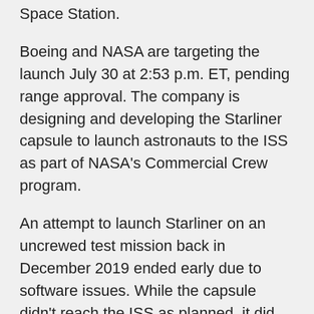Space Station.
Boeing and NASA are targeting the launch July 30 at 2:53 p.m. ET, pending range approval. The company is designing and developing the Starliner capsule to launch astronauts to the ISS as part of NASA's Commercial Crew program.
An attempt to launch Starliner on an uncrewed test mission back in December 2019 ended early due to software issues. While the capsule didn't reach the ISS as planned, it did land safely after a short stay in orbit.
This new attempt, called Orbital Flight Test-2 (OFT-2), will launch the Starliner capsule on ULA's Atlas V rocket. Boeing recently conducted a five-day, 110-hour simulation of the mission that resulted in a virtual docking to the ISS and successful landing.